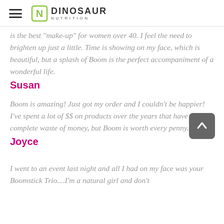Dinosaur Nutrition
is the best "make-up" for women over 40. I feel the need to brighten up just a little. Time is showing on my face, which is beautiful, but a splash of Boom is the perfect accompaniment of a wonderful life.
Susan
Boom is amazing! Just got my order and I couldn't be happier! I've spent a lot of $$ on products over the years that have been a complete waste of money, but Boom is worth every penny.
Joyce
I went to an event last night and all I had on my face was your Boomstick Trio....I'm a natural girl and don't